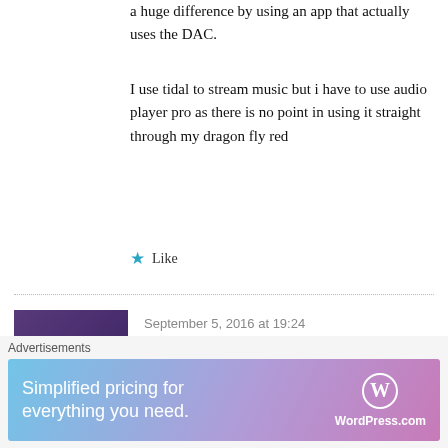a huge difference by using an app that actually uses the DAC.
I use tidal to stream music but i have to use audio player pro as there is no point in using it straight through my dragon fly red
Like
September 5, 2016 at 19:24
Thanks Martin. I do understand the difference. However some DACs
[Figure (photo): Avatar photo of a person wearing a hat, viewed from behind, outdoors]
Advertisements
[Figure (screenshot): WordPress.com advertisement banner: Simplified pricing for everything you need. WordPress.com logo on right side.]